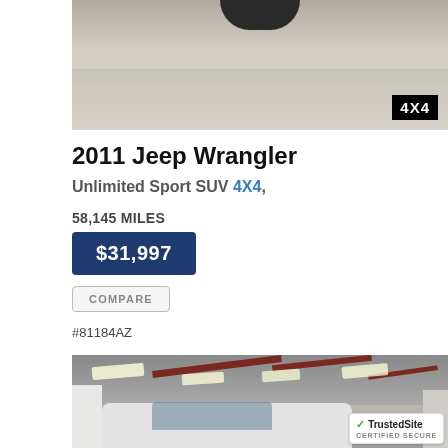[Figure (photo): Partial photo of a Jeep Wrangler in a garage, showing the vehicle undercarriage/tires area with a 4X4 badge overlay in the bottom right corner]
2011 Jeep Wrangler
Unlimited Sport SUV 4X4,
58,145 MILES
$31,997
COMPARE
#81184AZ
[Figure (photo): Interior of a metal building/garage with fluorescent ceiling lights, red steel beams, white walls, and a partial view of a white truck/SUV in the foreground. TrustedSite Certified Secure badge visible in the bottom right.]